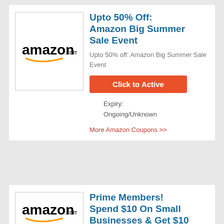[Figure (logo): Amazon.com logo with smile arrow]
Upto 50% Off: Amazon Big Summer Sale Event
Upto 50% off: Amazon Big Summer Sale Event
Click to Active
Expiry:
Ongoing/Unknown
More Amazon Coupons >>
[Figure (logo): Amazon.com logo with smile arrow]
Prime Members! Spend $10 On Small Businesses & Get $10